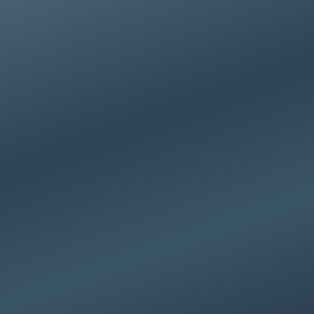[Everyone starts to lo... groaning and creaking... begins to shake and ch... furniture in some case... the ceiling caves in a... followed by an enormou... floor above. Gertrude... of coats, where they'v...
Gertrude:  Hello.
[Everyone simply stand...
Daphne:  All right.  G...
[The guests all step o... walks over and puts hi...
Frasier:  Daphne, cong...
[Daphne breaks down in...
Credits:
Niles comes downstairs... shambles, the bed in t... something, then finall... briefcase is tossed do... case and heads out the...